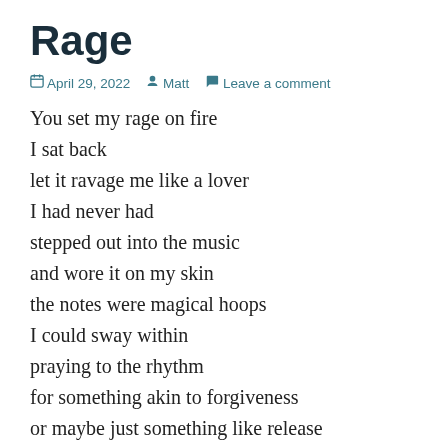Rage
April 29, 2022   Matt   Leave a comment
You set my rage on fire
I sat back
let it ravage me like a lover
I had never had
stepped out into the music
and wore it on my skin
the notes were magical hoops
I could sway within
praying to the rhythm
for something akin to forgiveness
or maybe just something like release
The music forgot you were the muse
my anger wished to paint red
and then something I don't...